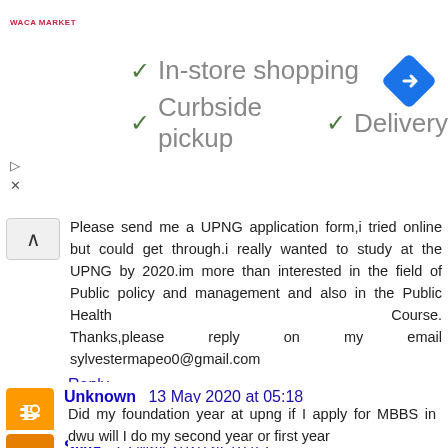[Figure (infographic): Ad banner showing Waca Market with checkmarks for In-store shopping, Curbside pickup, Delivery, and a blue navigation icon]
Please send me a UPNG application form,i tried online but could get through.i really wanted to study at the UPNG by 2020.im more than interested in the field of Public policy and management and also in the Public Health Course.Thanks,please reply on my email sylvestermapeo0@gmail.com
Reply
Unknown 13 May 2020 at 05:18
Did my foundation year at upng if I apply for MBBS in dwu will I do my second year or first year
Reply
Sivia 15 May 2020 at 16:45